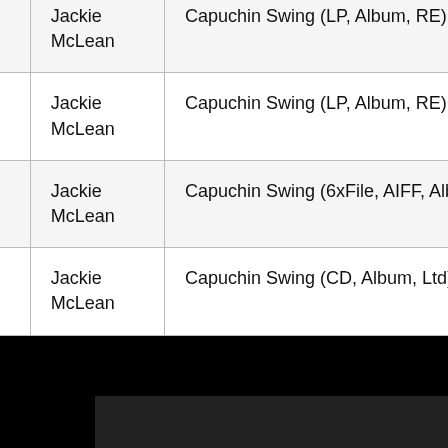| ID | Artist | Title/Format | Label | Cat# |
| --- | --- | --- | --- | --- |
| BST 84038 | Jackie McLean | Capuchin Swing (LP, Album, RE) | Blue Note | BST 84038 |
| none | Jackie McLean | Capuchin Swing (6xFile, AIFF, Album, RM, 24-) | Blue Note | none |
| TOCJ-7126 | Jackie McLean | Capuchin Swing (CD, Album, Ltd) | Blue Note | TOCJ-7126 |